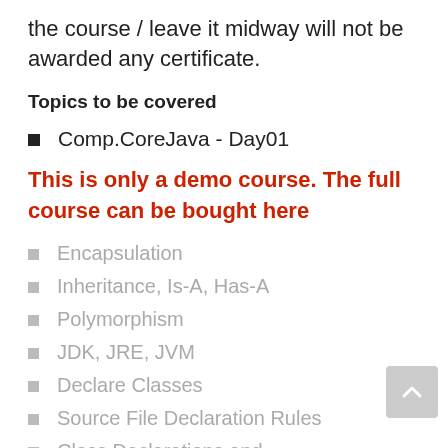the course / leave it midway will not be awarded any certificate.
Topics to be covered
Comp.CoreJava - Day01
This is only a demo course. The full course can be bought here
Encapsulation
Inheritance, Is-A, Has-A
Polymorphism
JDK, JRE, JVM
Declare Classes
Source File Declaration Rules
Class Declarations and